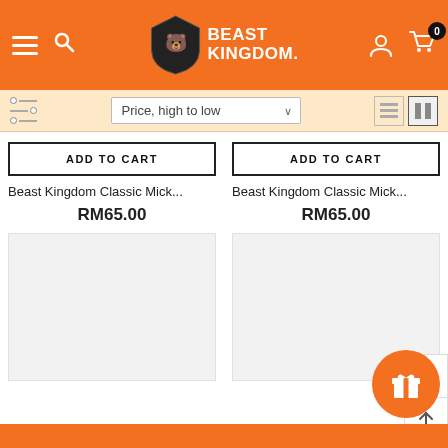Beast Kingdom - e-commerce website header with navigation, logo, user and cart icons
Price, high to low
ADD TO CART
Beast Kingdom Classic Mick...
RM65.00
ADD TO CART
Beast Kingdom Classic Mick...
RM65.00
[Figure (screenshot): Product image placeholder - light gray box for first product]
[Figure (screenshot): Product image placeholder - light gray box for second product]